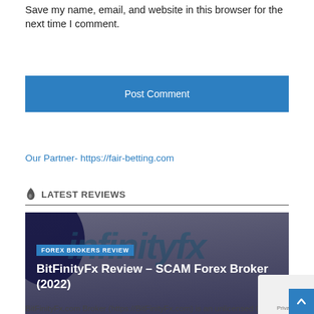Save my name, email, and website in this browser for the next time I comment.
Post Comment
Our Partner- https://fair-betting.com
LATEST REVIEWS
[Figure (screenshot): BitFinityFx Review card with dark overlay, teal logo text background, tag 'FOREX BROKERS REVIEW', and title 'BitFinityFx Review – SCAM Forex Broker (2022)']
BitFinityFx.com Broker (https://BitFinityFx.com) is an unlicensed CFD Broker reported by a customers as SCAM Broker. BitFinityFx Revi...